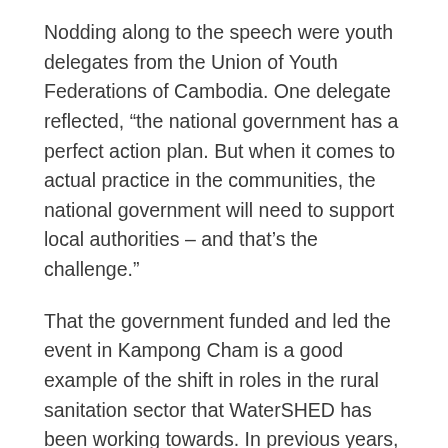Nodding along to the speech were youth delegates from the Union of Youth Federations of Cambodia. One delegate reflected, “the national government has a perfect action plan. But when it comes to actual practice in the communities, the national government will need to support local authorities – and that’s the challenge.”
That the government funded and led the event in Kampong Cham is a good example of the shift in roles in the rural sanitation sector that WaterSHED has been working towards. In previous years, when WaterSHED directly facilitated the rural sanitation market, we organized provincial industry conferences for private and public actors working on rural sanitation to network and collaborate. In the 3 years since the first conference, we gradually